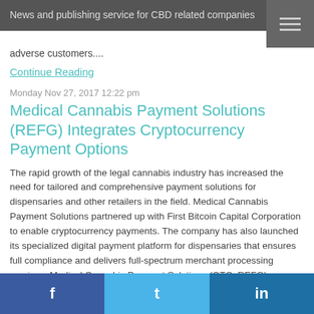News and publishing service for CBD related companies
adverse customers....
Continue Reading
Monday Nov 27, 2017 12:22 pm
Medical Cannabis Payment Solutions (REFG) Integrates Cryptocurrency Payment Options
The rapid growth of the legal cannabis industry has increased the need for tailored and comprehensive payment solutions for dispensaries and other retailers in the field. Medical Cannabis Payment Solutions partnered up with First Bitcoin Capital Corporation to enable cryptocurrency payments. The company has also launched its specialized digital payment platform for dispensaries that ensures full compliance and delivers full-spectrum merchant processing services. Medical Cannabis Payment Solutions (OTC: REFG) announced that it will integrate First Bitcoin cryptocurrency ("$Weed") with its StateSourced medical cannabis payment gateway service. The announcement came in November, following a partnership agreement be
f  t  in